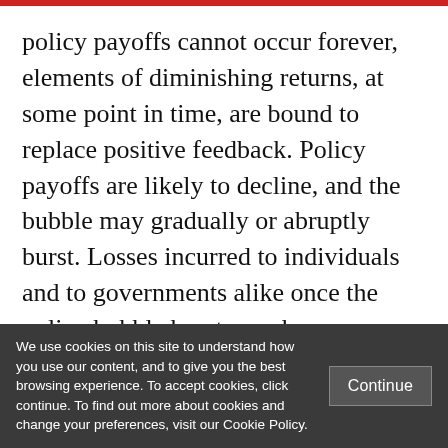policy payoffs cannot occur forever, elements of diminishing returns, at some point in time, are bound to replace positive feedback. Policy payoffs are likely to decline, and the bubble may gradually or abruptly burst. Losses incurred to individuals and to governments alike once the policy bubble bursts can be severe, sometimes even threatening the stability of the policy and
We use cookies on this site to understand how you use our content, and to give you the best browsing experience. To accept cookies, click continue. To find out more about cookies and change your preferences, visit our Cookie Policy.